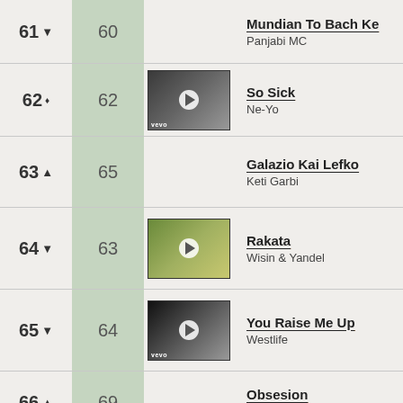61 ▼ 60 — Mundian To Bach Ke by Panjabi MC
62 ♦ 62 — So Sick by Ne-Yo
63 ▲ 65 — Galazio Kai Lefko by Keti Garbi
64 ▼ 63 — Rakata by Wisin & Yandel
65 ▼ 64 — You Raise Me Up by Westlife
66 ▲ 69 — Obsesion by Aventura